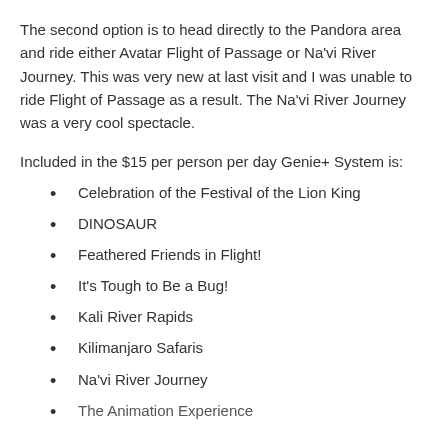The second option is to head directly to the Pandora area and ride either Avatar Flight of Passage or Na'vi River Journey. This was very new at last visit and I was unable to ride Flight of Passage as a result. The Na'vi River Journey was a very cool spectacle.
Included in the $15 per person per day Genie+ System is:
Celebration of the Festival of the Lion King
DINOSAUR
Feathered Friends in Flight!
It's Tough to Be a Bug!
Kali River Rapids
Kilimanjaro Safaris
Na'vi River Journey
The Animation Experience